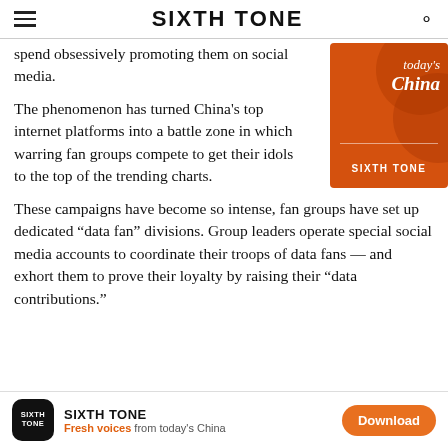SIXTH TONE
spend obsessively promoting them on social media.
The phenomenon has turned China's top internet platforms into a battle zone in which warring fan groups compete to get their idols to the top of the trending charts.
These campaigns have become so intense, fan groups have set up dedicated “data fan” divisions. Group leaders operate special social media accounts to coordinate their troops of data fans — and exhort them to prove their loyalty by raising their “data contributions.”
SIXTH TONE — Fresh voices from today's China — Download